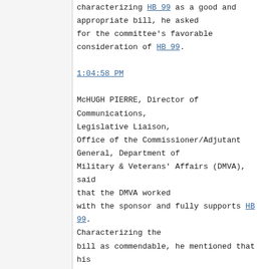characterizing HB 99 as a good and appropriate bill, he asked for the committee's favorable consideration of HB 99.
1:04:58 PM
McHUGH PIERRE, Director of Communications, Legislative Liaison, Office of the Commissioner/Adjutant General, Department of Military & Veterans' Affairs (DMVA), said that the DMVA worked with the sponsor and fully supports HB 99. Characterizing the bill as commendable, he mentioned that his grandfather was a lifelong veteran who recently passed away, and that had